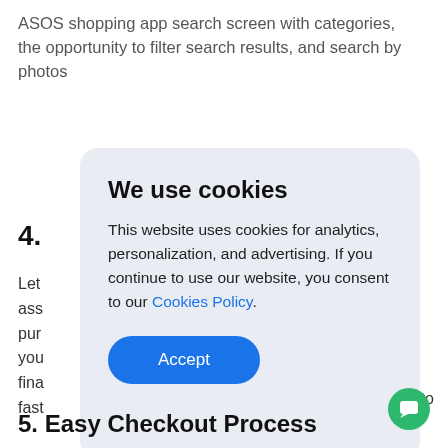ASOS shopping app search screen with categories, the opportunity to filter search results, and search by photos
4.
Let
ass
pur
you
fina
fast
to
[Figure (screenshot): Cookie consent modal dialog with title 'We use cookies', body text explaining cookie usage for analytics, personalization, and advertising with a link to 'Cookies Policy', and a blue 'Accept' button]
5. Easy Checkout Process